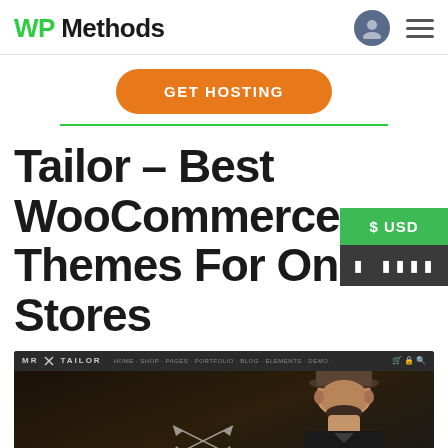WP Methods
[Figure (screenshot): GET HOSTING button with green underline above, orange rounded button with white text 'GET HOSTING']
Tailor – Best WooCommerce Themes For Online Stores
[Figure (screenshot): Screenshot of MR TAILOR WordPress theme website showing dark background with a man in a hat and crossed arrows logo]
[Figure (infographic): $ USD green badge with dark box below showing currency symbols]